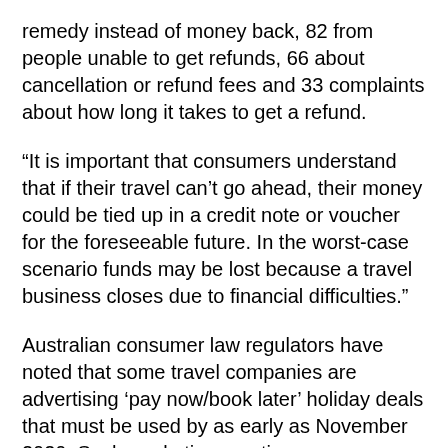remedy instead of money back, 82 from people unable to get refunds, 66 about cancellation or refund fees and 33 complaints about how long it takes to get a refund.
“It is important that consumers understand that if their travel can’t go ahead, their money could be tied up in a credit note or voucher for the foreseeable future. In the worst-case scenario funds may be lost because a travel business closes due to financial difficulties.”
Australian consumer law regulators have noted that some travel companies are advertising ‘pay now/book later’ holiday deals that must be used by as early as November 2020. Such marketing practices are a concern because of the potential inability for consumers to take advantage of the offers.